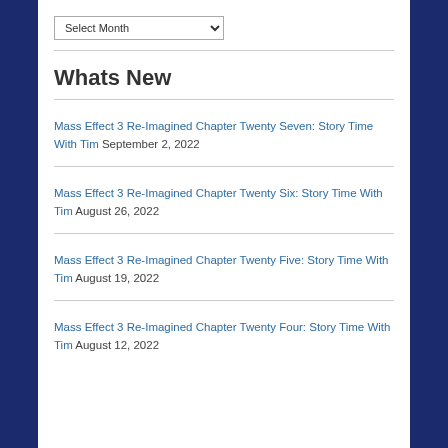Select Month
Whats New
Mass Effect 3 Re-Imagined Chapter Twenty Seven: Story Time With Tim September 2, 2022
Mass Effect 3 Re-Imagined Chapter Twenty Six: Story Time With Tim August 26, 2022
Mass Effect 3 Re-Imagined Chapter Twenty Five: Story Time With Tim August 19, 2022
Mass Effect 3 Re-Imagined Chapter Twenty Four: Story Time With Tim August 12, 2022